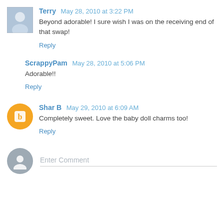Terry May 28, 2010 at 3:22 PM
Beyond adorable! I sure wish I was on the receiving end of that swap!
Reply
ScrappyPam May 28, 2010 at 5:06 PM
Adorable!!
Reply
Shar B May 29, 2010 at 6:09 AM
Completely sweet. Love the baby doll charms too!
Reply
Enter Comment